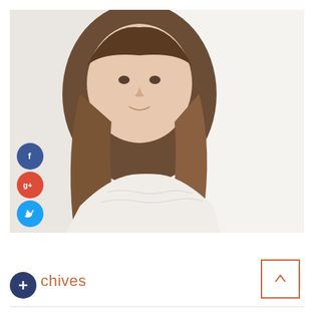[Figure (photo): Portrait photo of a young woman with long brown/blonde ombre hair, smiling slightly, wearing a white lace top, against a white/light grey background. Social media icons (Facebook, Google+, Twitter, and a plus/follow button) are overlaid on the left side of the image.]
chives
[Figure (other): Up arrow button — a square with an orange/brown border containing an upward-pointing arrow, used as a scroll-to-top button.]